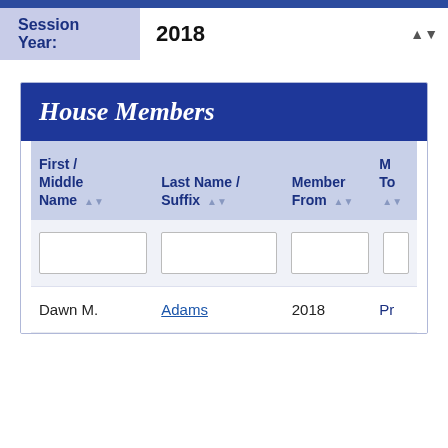Session Year: 2018
House Members
| First / Middle Name | Last Name / Suffix | Member From | M To |
| --- | --- | --- | --- |
| Dawn M. | Adams | 2018 | Pr |